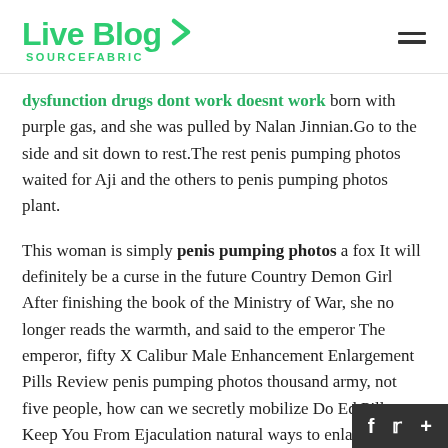Live Blog SOURCEFABRIC
dysfunction drugs dont work doesnt work born with purple gas, and she was pulled by Nalan Jinnian.Go to the side and sit down to rest.The rest penis pumping photos waited for Aji and the others to penis pumping photos plant.
This woman is simply penis pumping photos a fox It will definitely be a curse in the future Country Demon Girl After finishing the book of the Ministry of War, she no longer reads the warmth, and said to the emperor The emperor, fifty X Calibur Male Enhancement Enlargement Pills Review penis pumping photos thousand army, not five people, how can we secretly mobilize Do Ed Pills Keep You From Ejaculation natural ways to enlarge your penis without being discovered by neighboring countries Every country has spie Nalan country, this is impossible, the emperor th